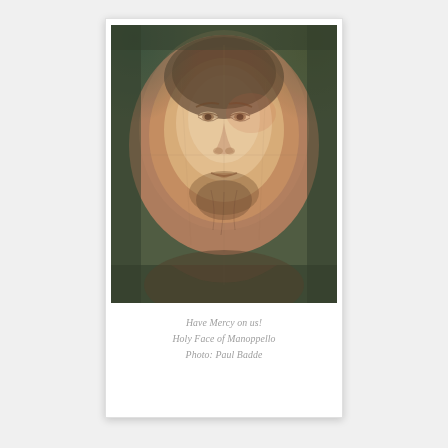[Figure (photo): Close-up photograph of the Holy Face of Manoppello — a religious icon showing the face of Jesus Christ rendered in muted golden, sepia, and teal tones on what appears to be a translucent cloth or veil. The face is centered, with visible eyes, nose, mouth, and beard. The background has dark teal/green tones at the corners and crown.]
Have Mercy on us!
Holy Face of Manoppello
Photo: Paul Badde